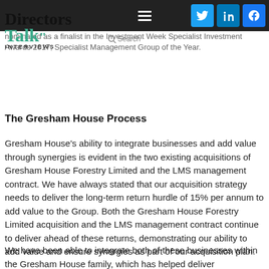Directors Talk INTERVIEWS
The development of our specialist asset management platform has also been nominated as a finalist in the Investment Week Specialist Investment Awards 2017, Specialist Management Group of the Year.
The Gresham House Process
Gresham House's ability to integrate businesses and add value through synergies is evident in the two existing acquisitions of Gresham House Forestry Limited and the LMS management contract. We have always stated that our acquisition strategy needs to deliver the long-term return hurdle of 15% per annum to add value to the Group. Both the Gresham House Forestry Limited acquisition and the LMS management contract continue to deliver ahead of these returns, demonstrating our ability to add value and ensure synergies as part of our acquisition plan.
We have been able to integrate both of these businesses within the Gresham House family, which has helped deliver